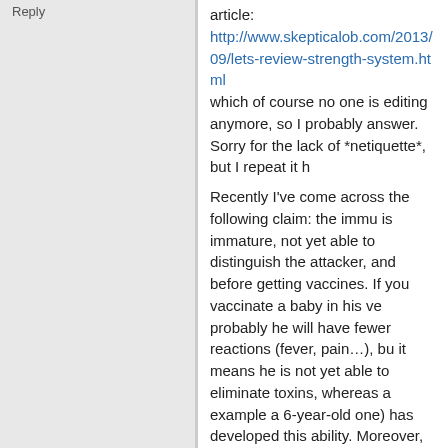Reply
article:
http://www.skepticalob.com/2013/09/lets-review-strength-system.html
which of course no one is editing anymore, so I probably answer. Sorry for the lack of *netiquette*, but I repeat it here.

Recently I've come across the following claim: the immune system is immature, not yet able to distinguish the attacker, and before getting vaccines. If you vaccinate a baby in his ve probably he will have fewer reactions (fever, pain…), but it means he is not yet able to eliminate toxins, whereas a example a 6-year-old one) has developed this ability. Moreover, the newborn's immune system gets confused vaccines.

I've got the feeling that this doesn't make sense… But I knowledge to explain why. Can someone help me?!
Lisa the Raptor
Log in to
Reply
If their immune systems were that weak would it not AIDs and they'd get every disease ever? But I know